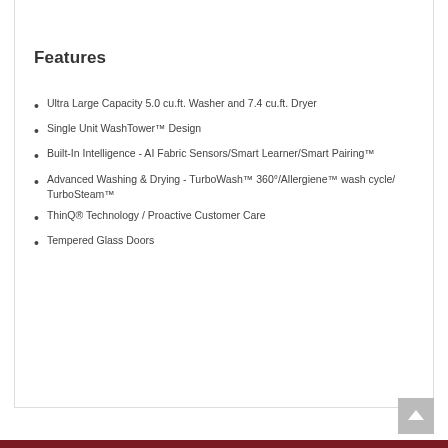Features
Ultra Large Capacity 5.0 cu.ft. Washer and 7.4 cu.ft. Dryer
Single Unit WashTower™ Design
Built-In Intelligence - AI Fabric Sensors/Smart Learner/Smart Pairing™
Advanced Washing & Drying - TurboWash™ 360°/Allergiene™ wash cycle/ TurboSteam™
ThinQ® Technology / Proactive Customer Care
Tempered Glass Doors